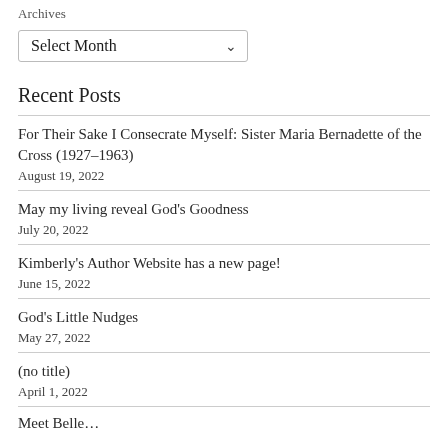Archives
Select Month
Recent Posts
For Their Sake I Consecrate Myself: Sister Maria Bernadette of the Cross (1927–1963)
August 19, 2022
May my living reveal God's Goodness
July 20, 2022
Kimberly's Author Website has a new page!
June 15, 2022
God's Little Nudges
May 27, 2022
(no title)
April 1, 2022
Meet Belle…